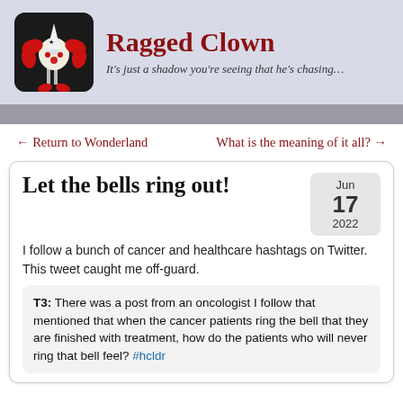[Figure (illustration): Clown doll illustration — white clown with red hair and dark costume, used as site logo]
Ragged Clown
It's just a shadow you're seeing that he's chasing…
← Return to Wonderland
What is the meaning of it all? →
Let the bells ring out!
Jun 17 2022
I follow a bunch of cancer and healthcare hashtags on Twitter. This tweet caught me off-guard.
T3:  There was a post from an oncologist I follow that mentioned that when the cancer patients ring the bell that they are finished with treatment, how do the patients who will never ring that bell feel? #hcldr